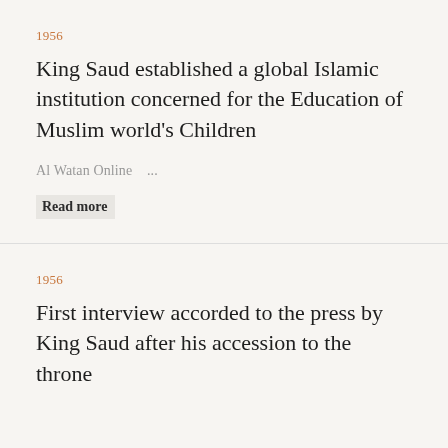1956
King Saud established a global Islamic institution concerned for the Education of Muslim world's Children
Al Watan Online   ...
Read more
1956
First interview accorded to the press by King Saud after his accession to the throne